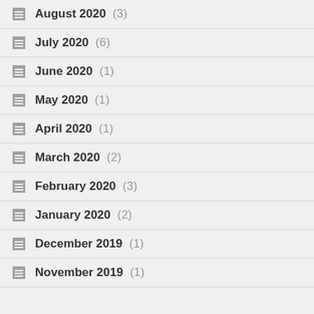August 2020 (3)
July 2020 (6)
June 2020 (1)
May 2020 (1)
April 2020 (1)
March 2020 (2)
February 2020 (3)
January 2020 (2)
December 2019 (1)
November 2019 (1)